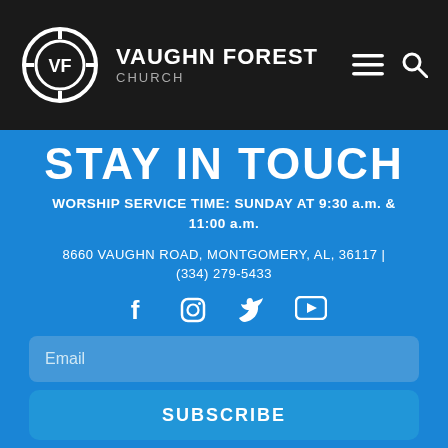[Figure (logo): Vaughn Forest Church logo: circular VF logo mark in white on dark background, with text VAUGHN FOREST CHURCH beside it, and hamburger menu and search icons on the right]
STAY IN TOUCH
WORSHIP SERVICE TIME: SUNDAY AT 9:30 a.m. & 11:00 a.m.
8660 VAUGHN ROAD, MONTGOMERY, AL, 36117 | (334) 279-5433
[Figure (infographic): Social media icons: Facebook, Instagram, Twitter, YouTube]
Email
SUBSCRIBE